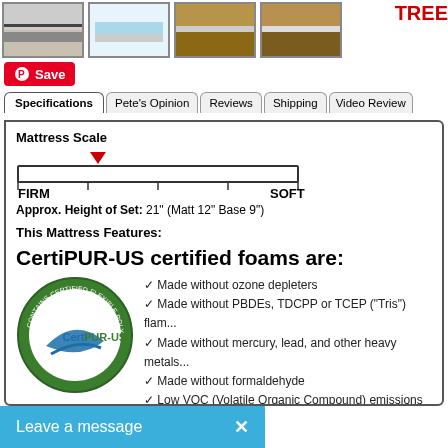[Figure (photo): Four thumbnail product images of mattresses shown in a row at the top]
TREE...
Save
Specifications | Pete's Opinion | Reviews | Shipping | Video Review
Mattress Scale
[Figure (infographic): Mattress firmness scale bar from FIRM to SOFT with a red triangle indicator positioned toward the firmer end]
Approx. Height of Set: 21" (Matt 12" Base 9")
This Mattress Features:
CertiPUR-US certified foams are:
[Figure (logo): CertiPUR-US certification logo - circular green badge with blue swoosh and text]
Made without ozone depleters
Made without PBDEs, TDCPP or TCEP ("Tris") flam...
Made without mercury, lead, and other heavy metals...
Made without formaldehyde
Low VOC (Volatile Organic Compound) emissions for... (less than 0.5 parts per million)
Made without phthalates regulated by the Consumer... Commission
Leave a message  ×